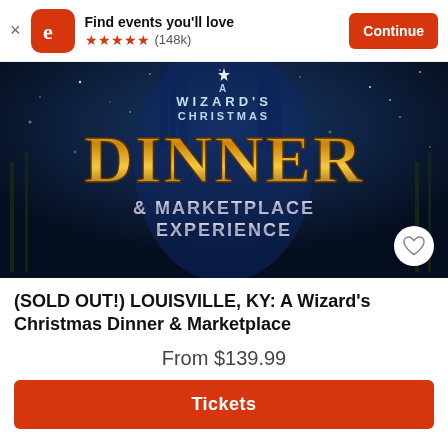Find events you'll love ★★★★★ (148k)
[Figure (illustration): A Wizard's Christmas Dinner & Marketplace Experience promotional banner image with dark blue magical castle background and golden 'DINNER' text with '& MARKETPLACE EXPERIENCE' below and 'A WIZARD'S CHRISTMAS' at the top]
(SOLD OUT!) LOUISVILLE, KY: A Wizard's Christmas Dinner & Marketplace
From $139.99
Tickets